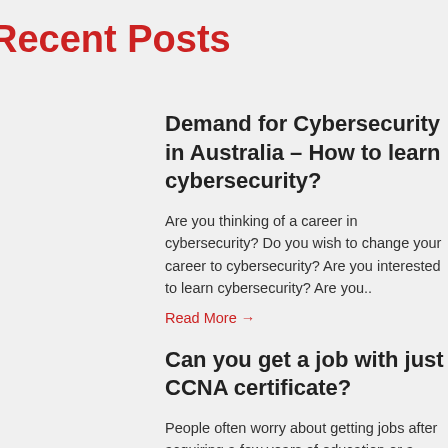Recent Posts
Demand for Cybersecurity in Australia – How to learn cybersecurity?
Are you thinking of a career in cybersecurity? Do you wish to change your career to cybersecurity? Are you interested to learn cybersecurity? Are you..
Read More →
Can you get a job with just CCNA certificate?
People often worry about getting jobs after acquiring a few years of education or a specific certificate. Thi...